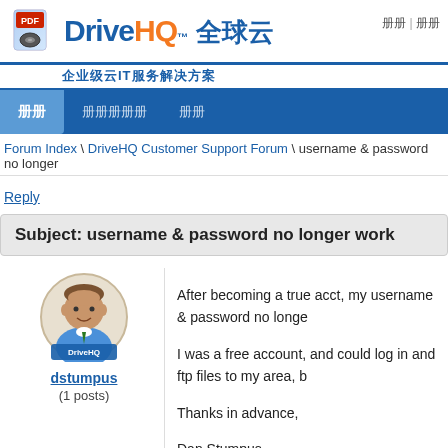DriveHQ™ 全球云 企业级云IT服务解决方案
论坛 | 注册
首页  支持论坛  注销
Forum Index \ DriveHQ Customer Support Forum \ username & password no longer
Reply
Subject: username & password no longer work
After becoming a true acct, my username & password no longe
I was a free account, and could log in and ftp files to my area, b
Thanks in advance,
Dan Stumpus
dstumpus
(1 posts)